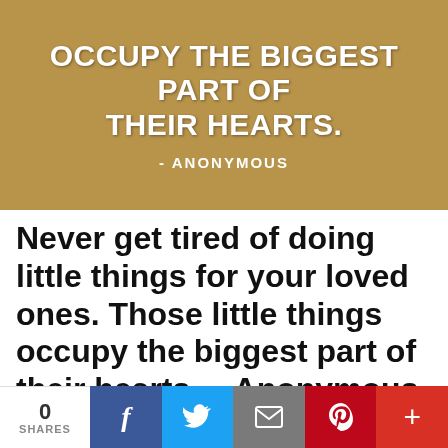[Figure (illustration): Quote image with tan/brown background showing text: '...THOSE LITTLE THINGS OCCUPY THE BIGGEST PART OF THEIR HEARTS. - ANONYMOUS' in bold white uppercase letters]
Never get tired of doing little things for your loved ones. Those little things occupy the biggest part of their hearts. – Anonymous
0 SHARES | f | t | email | p | +